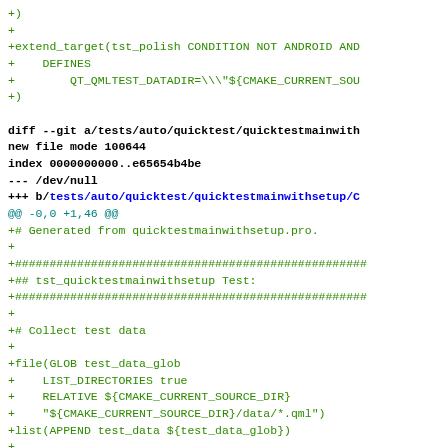+)
+
+extend_target(tst_polish CONDITION NOT ANDROID AND
+    DEFINES
+        QT_QMLTEST_DATADIR=\\"${CMAKE_CURRENT_SOU
+)

diff --git a/tests/auto/quicktest/quicktestmainwith
new file mode 100644
index 0000000000..e65654b4be
--- /dev/null
+++ b/tests/auto/quicktest/quicktestmainwithsetup/C
@@ -0,0 +1,46 @@
+# Generated from quicktestmainwithsetup.pro.
+
+##################################################
+## tst_quicktestmainwithsetup Test:
+##################################################
+
+# Collect test data
+
+file(GLOB test_data_glob
+    LIST_DIRECTORIES true
+    RELATIVE ${CMAKE_CURRENT_SOURCE_DIR}
+    "${CMAKE_CURRENT_SOURCE_DIR}/data/*.qml")
+list(APPEND test_data ${test_data_glob})
+
+add_qt_test(tst_quicktestmainwithsetup
+    GUI
+    QMLTEST